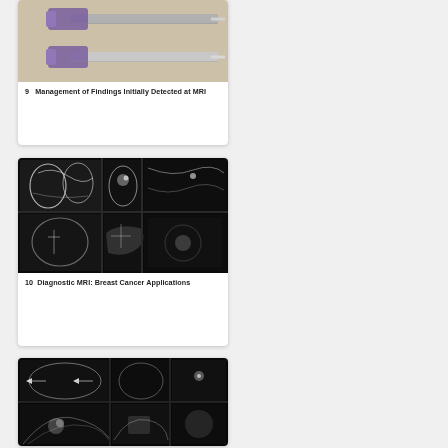[Figure (photo): Photograph of biopsy needle devices mounted on a beige/tan background, showing two needle instruments with purple/blue connectors.]
9  Management of Findings Initially Detected at MRI
[Figure (photo): Collage of multiple MRI breast images in black and white showing various views of breast tissue with bright white enhancement patterns indicating lesions.]
10  Diagnostic MRI: Breast Cancer Applications
[Figure (photo): Collage of multiple MRI breast images in black and white showing axial and sagittal views with arrows pointing to areas of interest.]